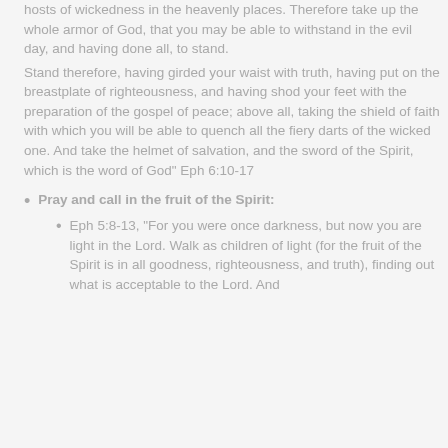hosts of wickedness in the heavenly places. Therefore take up the whole armor of God, that you may be able to withstand in the evil day, and having done all, to stand. Stand therefore, having girded your waist with truth, having put on the breastplate of righteousness, and having shod your feet with the preparation of the gospel of peace; above all, taking the shield of faith with which you will be able to quench all the fiery darts of the wicked one. And take the helmet of salvation, and the sword of the Spirit, which is the word of God"  Eph 6:10-17
Pray and call in the fruit of the Spirit:
Eph 5:8-13,  "For you were once darkness, but now you are light in the Lord. Walk as children of light (for the fruit of the Spirit is in all goodness, righteousness, and truth), finding out what is acceptable to the Lord. And